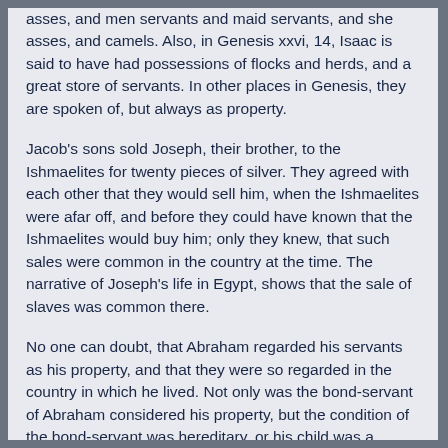asses, and men servants and maid servants, and she asses, and camels. Also, in Genesis xxvi, 14, Isaac is said to have had possessions of flocks and herds, and a great store of servants. In other places in Genesis, they are spoken of, but always as property.
Jacob's sons sold Joseph, their brother, to the Ishmaelites for twenty pieces of silver. They agreed with each other that they would sell him, when the Ishmaelites were afar off, and before they could have known that the Ishmaelites would buy him; only they knew, that such sales were common in the country at the time. The narrative of Joseph's life in Egypt, shows that the sale of slaves was common there.
No one can doubt, that Abraham regarded his servants as his property, and that they were so regarded in the country in which he lived. Not only was the bond-servant of Abraham considered his property, but the condition of the bond-servant was hereditary, or his child was a servant. In Genesis xvii, 13, God not only commanded Abraham to circumcise his servants, bought with his money, but also, those born in his house, and those which, at any future time, should be born in his house; so that the form of his bond-servant...